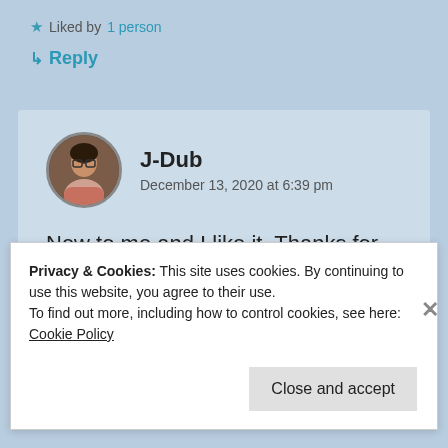★ Liked by 1 person
↳ Reply
J-Dub
December 13, 2020 at 6:39 pm
New to me and I like it. Thanks for sharing
★ Liked by 1 person
Privacy & Cookies: This site uses cookies. By continuing to use this website, you agree to their use.
To find out more, including how to control cookies, see here: Cookie Policy
Close and accept